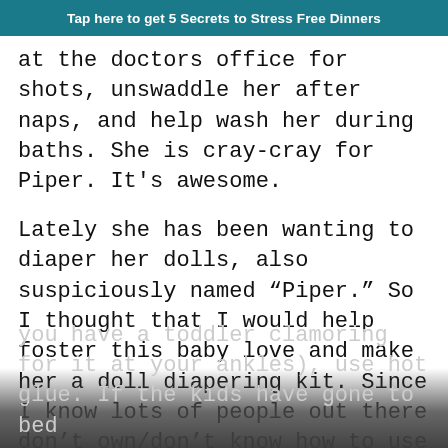Tap here to get 5 Secrets to Stress Free Dinners
at the doctors office for shots, unswaddle her after naps, and help wash her during baths. She is cray-cray for Piper. It's awesome.
Lately she has been wanting to diaper her dolls, also suspiciously named “Piper.” So I thought that I would help foster this baby love and make her a doll diapering kit. Since I know lots of people out there don’t own/don’t know how to use a sewing machine, I thought I would make this a “no sew” project. But you certainly could trade your glue for thread and sew everything up. Keep in mind that if you want this to be a faster project (i.e. you have a toddler clamoring for it at your ankles), use hot glue. If the kids have gone to bed